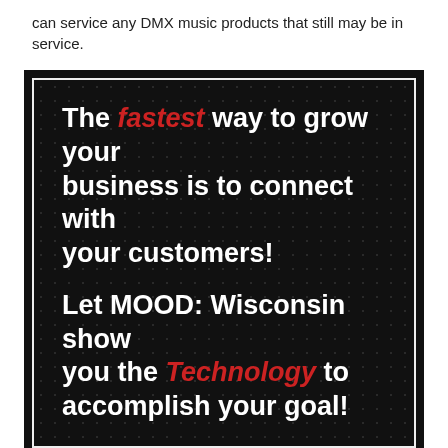can service any DMX music products that still may be in service.
[Figure (infographic): Dark honeycomb-patterned advertisement box with white and red text reading: 'The fastest way to grow your business is to connect with your customers! Let MOOD: Wisconsin show you the Technology to accomplish your goal!']
60+ Years of Local Experience
We Proudly Serve Des Moines, Ames, Fort Dodge, Creston, Marshalltown, Clear Lake, Mason City, and all places in between.